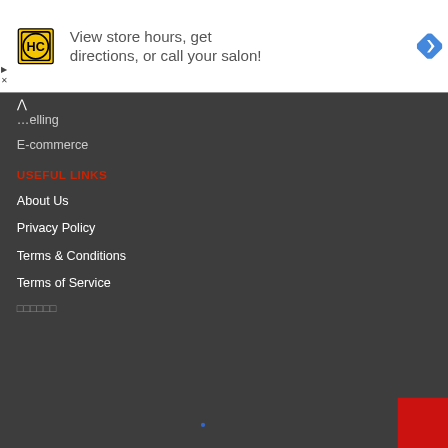[Figure (infographic): Advertisement banner with HC logo (yellow circle with HC text in black), text 'View store hours, get directions, or call your salon!', and a blue diamond-shaped navigation arrow icon on the right. Small play and close (X) controls on the left side.]
...elling
E-commerce
USEFUL LINKS
About Us
Privacy Policy
Terms & Conditions
Terms of Service
□□□□□□□